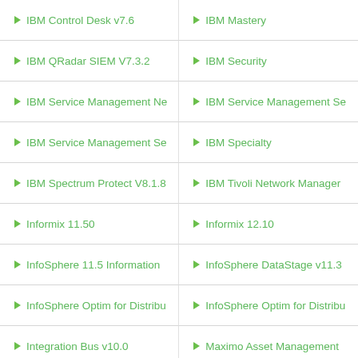IBM Control Desk v7.6
IBM Mastery
IBM QRadar SIEM V7.3.2
IBM Security
IBM Service Management Ne
IBM Service Management Se
IBM Service Management Se
IBM Specialty
IBM Spectrum Protect V8.1.8
IBM Tivoli Network Manager
Informix 11.50
Informix 12.10
InfoSphere 11.5 Information
InfoSphere DataStage v11.3
InfoSphere Optim for Distribu
InfoSphere Optim for Distribu
Integration Bus v10.0
Maximo Asset Management
Maximo Asset Management
Mobile Foundation V8.0
MQ V9.0
MQ V9.1
Network Performance Se...
NetWorkHealth Select V2...